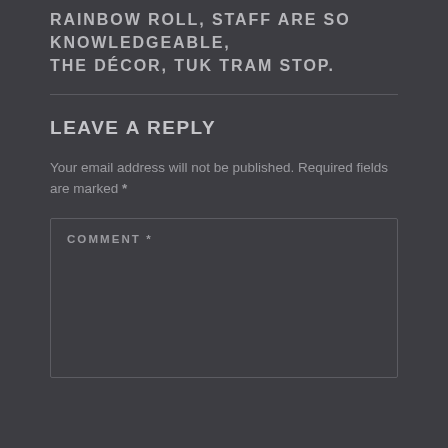RAINBOW ROLL, STAFF ARE SO KNOWLEDGEABLE, THE DÉCOR, TUK TRAM STOP.
LEAVE A REPLY
Your email address will not be published. Required fields are marked *
COMMENT *